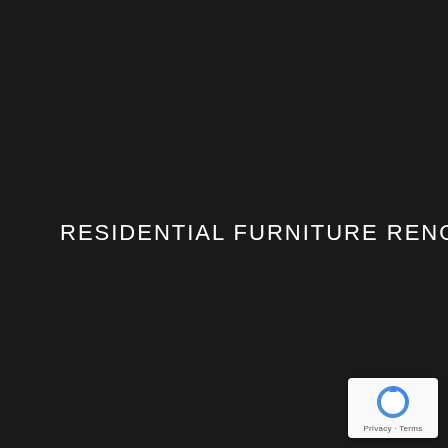RESIDENTIAL FURNITURE RENOVATION
[Figure (logo): Google reCAPTCHA badge with circular arrow logo, Privacy and Terms links]